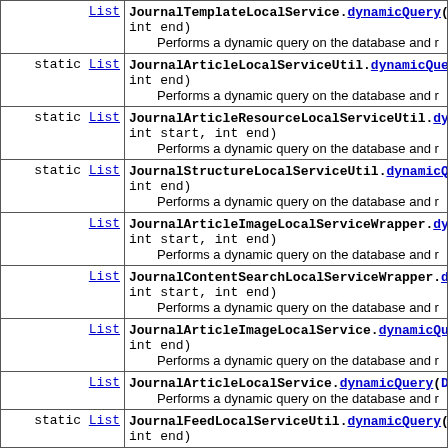| Return | Method/Description |
| --- | --- |
| List | JournalTemplateLocalService.dynamicQuery(Dyna... int end)
    Performs a dynamic query on the database and r |
| static List | JournalArticleLocalServiceUtil.dynamicQuery(D... int end)
    Performs a dynamic query on the database and r |
| static List | JournalArticleResourceLocalServiceUtil.dynami... int start, int end)
    Performs a dynamic query on the database and r |
| static List | JournalStructureLocalServiceUtil.dynamicQuery... int end)
    Performs a dynamic query on the database and r |
| List | JournalArticleImageLocalServiceWrapper.dynami... int start, int end)
    Performs a dynamic query on the database and r |
| List | JournalContentSearchLocalServiceWrapper.dyna... int start, int end)
    Performs a dynamic query on the database and r |
| List | JournalArticleImageLocalService.dynamicQuery(... int end)
    Performs a dynamic query on the database and r |
| List | JournalArticleLocalService.dynamicQuery(Dynam...
    Performs a dynamic query on the database and r |
| static List | JournalFeedLocalServiceUtil.dynamicQuery(Dyna... int end) |